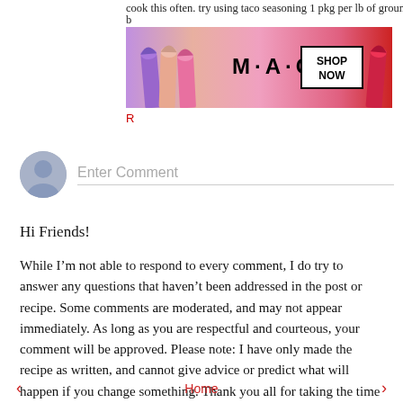cook this often. try using taco seasoning 1 pkg per lb of ground
[Figure (advertisement): MAC cosmetics advertisement showing colorful lipsticks on a gradient background with MAC logo and SHOP NOW button]
R
Enter Comment
Hi Friends!
While I’m not able to respond to every comment, I do try to answer any questions that haven’t been addressed in the post or recipe. Some comments are moderated, and may not appear immediately. As long as you are respectful and courteous, your comment will be approved. Please note: I have only made the recipe as written, and cannot give advice or predict what will happen if you change something. Thank you all for taking the time to stop by and leave a comment.
‹  Home  ›